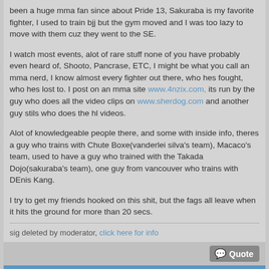been a huge mma fan since about Pride 13, Sakuraba is my favorite fighter, I used to train bjj but the gym moved and I was too lazy to move with them cuz they went to the SE.

I watch most events, alot of rare stuff none of you have probably even heard of, Shooto, Pancrase, ETC, I might be what you call an mma nerd, I know almost every fighter out there, who hes fought, who hes lost to. I post on an mma site www.4nzix.com, its run by the guy who does all the video clips on www.sherdog.com and another guy stils who does the hl videos.

Alot of knowledgeable people there, and some with inside info, theres a guy who trains with Chute Boxe(vanderlei silva's team), Macaco's team, used to have a guy who trained with the Takada Dojo(sakuraba's team), one guy from vancouver who trains with DEnis Kang.

I try to get my friends hooked on this shit, but the fags all leave when it hits the ground for more than 20 secs.
sig deleted by moderator, click here for info
Quote